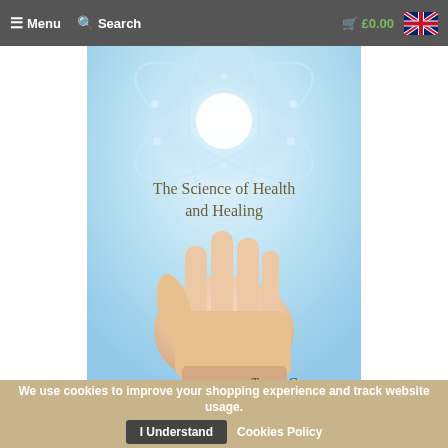≡ Menu  🔍 Search  🛒 £0.00
[Figure (photo): Book cover for 'The Science of Health and Healing' by Trevor Gunn. Light blue background with a glowing atomic/orbital symbol at the top and an open human hand reaching upward in the center. Title text in serif font, author name at bottom right.]
We use cookies to improve your shopping experience and track website usage. I Understand  Cookies Policy